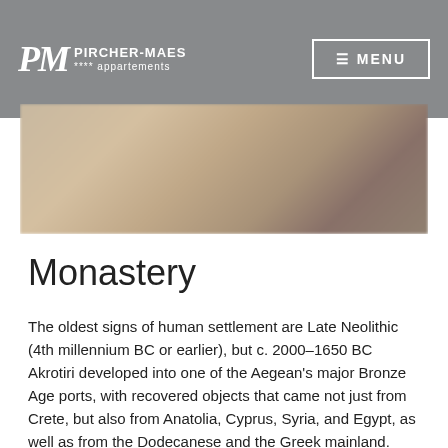PM PIRCHER-MAES **** appartements  ☰ MENU
[Figure (photo): Blurred background image partially visible behind the page header and a framed image area below it]
Monastery
The oldest signs of human settlement are Late Neolithic (4th millennium BC or earlier), but c. 2000–1650 BC Akrotiri developed into one of the Aegean's major Bronze Age ports, with recovered objects that came not just from Crete, but also from Anatolia, Cyprus, Syria, and Egypt, as well as from the Dodecanese and the Greek mainland.